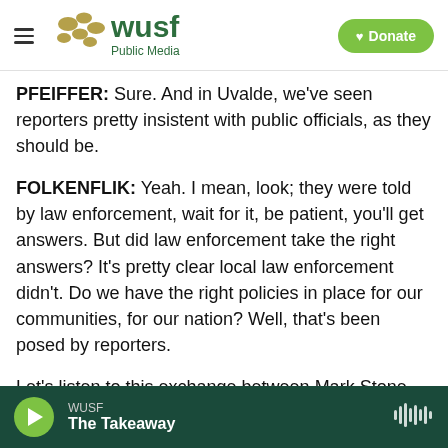WUSF Public Media — Donate
PFEIFFER: Sure. And in Uvalde, we've seen reporters pretty insistent with public officials, as they should be.
FOLKENFLIK: Yeah. I mean, look; they were told by law enforcement, wait for it, be patient, you'll get answers. But did law enforcement take the right answers? It's pretty clear local law enforcement didn't. Do we have the right policies in place for our communities, for our nation? Well, that's been posed by reporters.
Let's listen to this exchange between Mark Stone
WUSF — The Takeaway